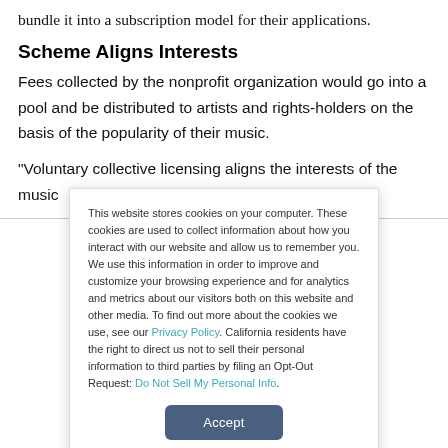bundle it into a subscription model for their applications.
Scheme Aligns Interests
Fees collected by the nonprofit organization would go into a pool and be distributed to artists and rights-holders on the basis of the popularity of their music.
“Voluntary collective licensing aligns the interests of the music
This website stores cookies on your computer. These cookies are used to collect information about how you interact with our website and allow us to remember you. We use this information in order to improve and customize your browsing experience and for analytics and metrics about our visitors both on this website and other media. To find out more about the cookies we use, see our Privacy Policy. California residents have the right to direct us not to sell their personal information to third parties by filing an Opt-Out Request: Do Not Sell My Personal Info.
Accept